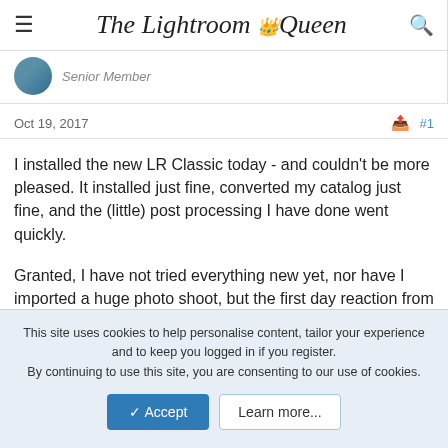The Lightroom Queen
Senior Member
Oct 19, 2017  #1
I installed the new LR Classic today - and couldn't be more pleased. It installed just fine, converted my catalog just fine, and the (little) post processing I have done went quickly.

Granted, I have not tried everything new yet, nor have I imported a huge photo shoot, but the first day reaction from me is - great job, Adobe engineers.
This site uses cookies to help personalise content, tailor your experience and to keep you logged in if you register.
By continuing to use this site, you are consenting to our use of cookies.